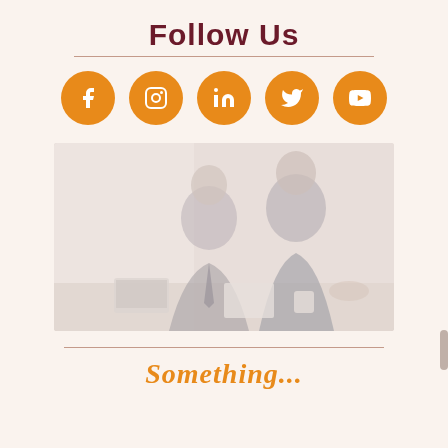Follow Us
[Figure (infographic): Five orange circular social media icons: Facebook (f), Instagram (camera), LinkedIn (in), Twitter (bird), YouTube (play button)]
[Figure (photo): Two businessmen in suits sitting together, looking at documents on a table, faded/washed out style]
Something...